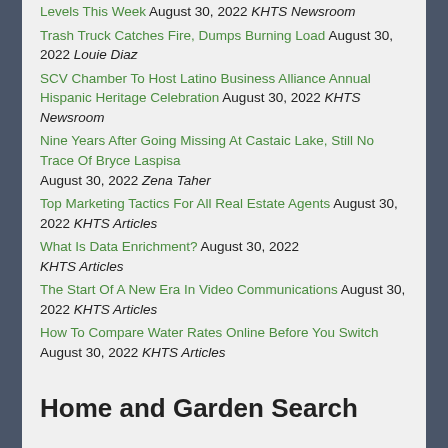Levels This Week August 30, 2022 KHTS Newsroom
Trash Truck Catches Fire, Dumps Burning Load August 30, 2022 Louie Diaz
SCV Chamber To Host Latino Business Alliance Annual Hispanic Heritage Celebration August 30, 2022 KHTS Newsroom
Nine Years After Going Missing At Castaic Lake, Still No Trace Of Bryce Laspisa August 30, 2022 Zena Taher
Top Marketing Tactics For All Real Estate Agents August 30, 2022 KHTS Articles
What Is Data Enrichment? August 30, 2022 KHTS Articles
The Start Of A New Era In Video Communications August 30, 2022 KHTS Articles
How To Compare Water Rates Online Before You Switch August 30, 2022 KHTS Articles
Home and Garden Search